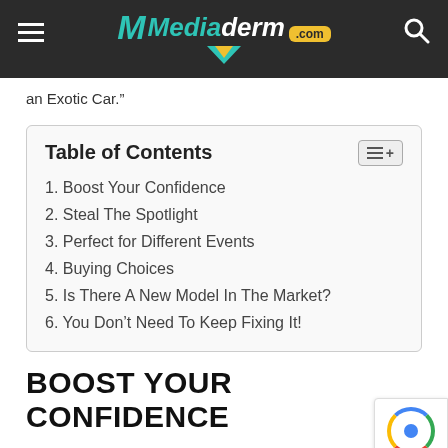Mediaderm.com
an Exotic Car.”
| Table of Contents |
| --- |
| 1. Boost Your Confidence |
| 2. Steal The Spotlight |
| 3. Perfect for Different Events |
| 4. Buying Choices |
| 5. Is There A New Model In The Market? |
| 6. You Don’t Need To Keep Fixing It! |
BOOST YOUR CONFIDENCE
Driving a car that looks rich and feels even better is